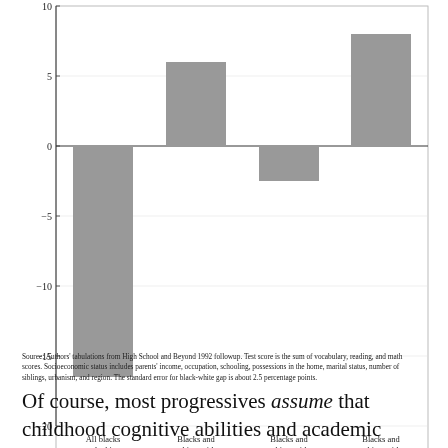[Figure (bar-chart): Black-white gap in graduation rates (percentage points)]
Source: Authors' tabulations from High School and Beyond 1992 followup. Test score is the sum of vocabulary, reading, and math scores. Socioeconomic status includes parents' income, occupation, schooling, possessions in the home, marital status, number of siblings, urbanism, and region. The standard error for black-white gap is about 2.5 percentage points.
Of course, most progressives assume that childhood cognitive abilities and academic achievement are somehow purchased through better nutrition, better schools, poorly specified "enrichment" activities, and so on.